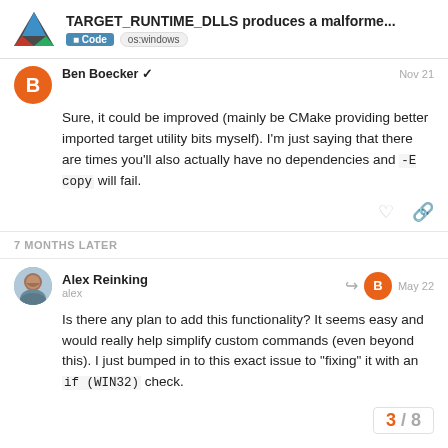TARGET_RUNTIME_DLLS produces a malforme...
Ben Boecker  Nov 21
Sure, it could be improved (mainly be CMake providing better imported target utility bits myself). I'm just saying that there are times you'll also actually have no dependencies and -E copy will fail.
7 MONTHS LATER
Alex Reinking alex  May 22
Is there any plan to add this functionality? It seems easy and would really help simplify custom commands (even beyond this). I just bumped in to this exact issue to "fixing" it with an if (WIN32) check.